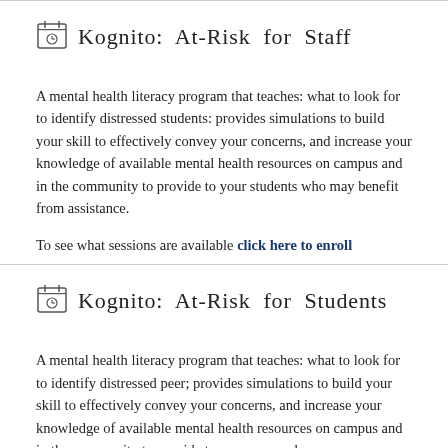Kognito: At-Risk for Staff
A mental health literacy program that teaches: what to look for to identify distressed students: provides simulations to build your skill to effectively convey your concerns, and increase your knowledge of available mental health resources on campus and in the community to provide to your students who may benefit from assistance.
To see what sessions are available click here to enroll
Kognito: At-Risk for Students
A mental health literacy program that teaches: what to look for to identify distressed peer; provides simulations to build your skill to effectively convey your concerns, and increase your knowledge of available mental health resources on campus and in the community to provide to your peers who